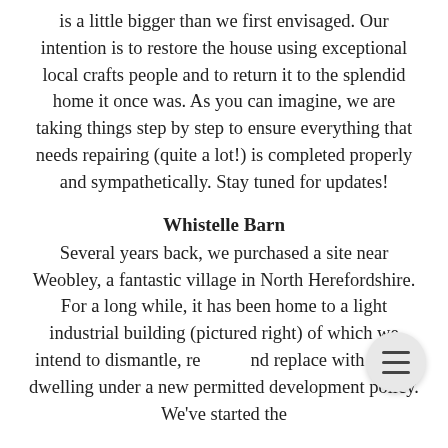is a little bigger than we first envisaged. Our intention is to restore the house using exceptional local crafts people and to return it to the splendid home it once was. As you can imagine, we are taking things step by step to ensure everything that needs repairing (quite a lot!) is completed properly and sympathetically. Stay tuned for updates!
Whistelle Barn
Several years back, we purchased a site near Weobley, a fantastic village in North Herefordshire. For a long while, it has been home to a light industrial building (pictured right) of which we intend to dismantle, re and replace with a new dwelling under a new permitted development policy. We've started the